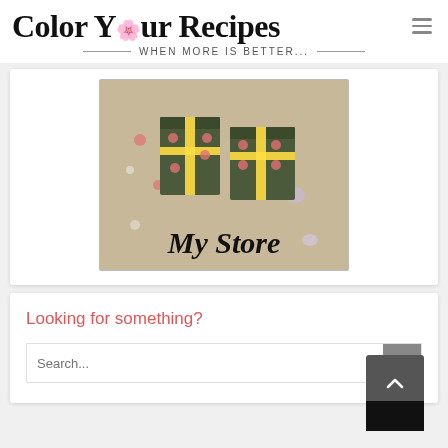Color Your Recipes — When More Is Better...
[Figure (illustration): Store illustration with gift boxes and 'My Store' cursive text on a tan/beige background with colored dots and hearts]
Looking for something?
Search...